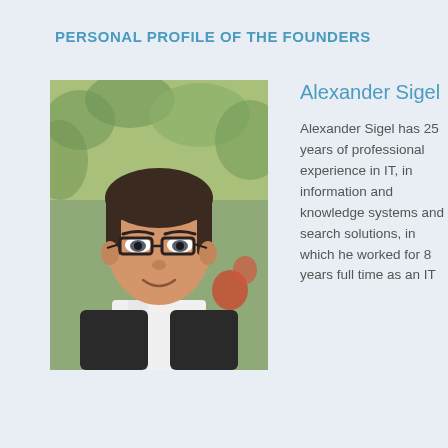PERSONAL PROFILE OF THE FOUNDERS
[Figure (photo): Headshot photo of Alexander Sigel, a middle-aged man with dark hair and glasses, wearing a dark jacket and white shirt, with outdoor background.]
Alexander Sigel
Alexander Sigel has 25 years of professional experience in IT, in information and knowledge systems and search solutions, in which he worked for 8 years full time as an IT